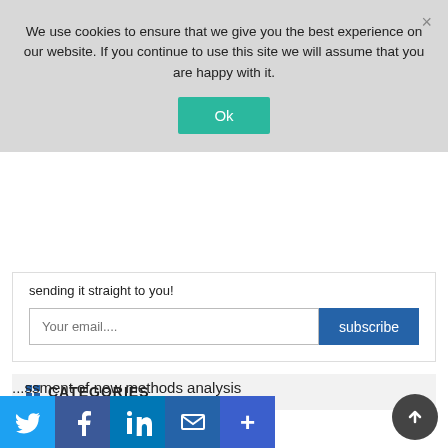We use cookies to ensure that we give you the best experience on our website. If you continue to use this site we will assume that you are happy with it.
Ok
sending it straight to you!
Your email....
subscribe
CATEGORIES
About Golden Helix
Add-on scripts & data repository
Assessment of new methods
...ssessment of new methods analysis
[Figure (infographic): Social share bar with Twitter, Facebook, LinkedIn, Email, and More (+) icons at the bottom of the page, plus a back-to-top circular button on the bottom right]